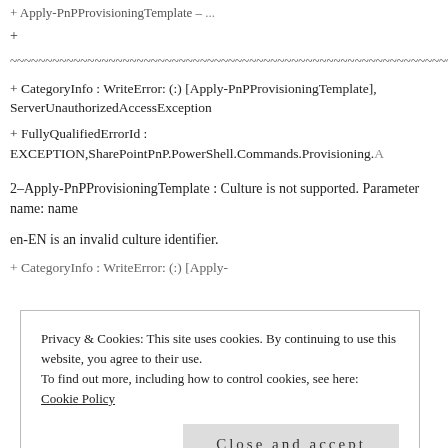+ Apply-PnPProvisioningTemplate – ...
+
~~~~~~~~~~~~~~~~~~~~~~~~~~~~~~~~~~~~~~~~~~~~~~~~~~~~~~~~
+ CategoryInfo : WriteError: (:) [Apply-PnPProvisioningTemplate], ServerUnauthorizedAccessException
+ FullyQualifiedErrorId : EXCEPTION,SharePointPnP.PowerShell.Commands.Provisioning.A
2–Apply-PnPProvisioningTemplate : Culture is not supported. Parameter name: name
en-EN is an invalid culture identifier.
At D:\hassannawaz\sp-starter-kit...
Privacy & Cookies: This site uses cookies. By continuing to use this website, you agree to their use.
To find out more, including how to control cookies, see here: Cookie Policy
Close and accept
+ CategoryInfo : WriteError: (:) [Apply-